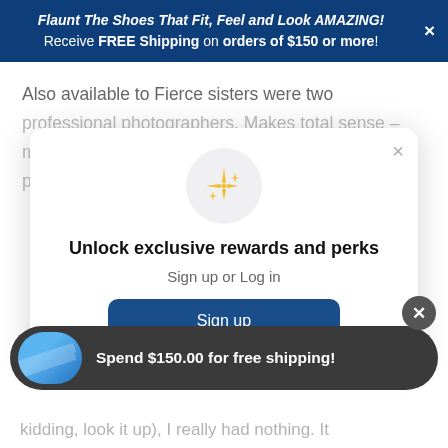Flaunt The Shoes That Fit, Feel and Look AMAZING! Receive FREE Shipping on orders of $150 or more!
Also available to Fierce sisters were two professional photographers. Makes total sense – most of these women are bloggers, influencers, public speakers, authors – all of
[Figure (screenshot): Modal popup with sparkle icon, text 'Unlock exclusive rewards and perks', 'Sign up or Log in', and a 'Sign up' button.]
Unlock exclusive rewards and perks
Sign up or Log in
Sign up
Spend $150.00 for free shipping!
kidding, look it up), I really had nothing. It